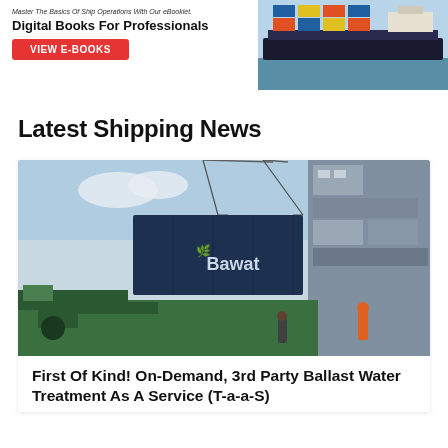[Figure (illustration): Advertisement banner for digital e-books for ship operations professionals. Shows text 'Digital Books For Professionals' with a red 'VIEW E-BOOKS' button on left, and a container ship photo on the right.]
Latest Shipping News
[Figure (photo): Photo of a dark blue Bawat branded shipping container being lifted by crane onto a ship. Green deck equipment visible below, ship superstructure visible on the right.]
First Of Kind! On-Demand, 3rd Party Ballast Water Treatment As A Service (T-a-a-S)